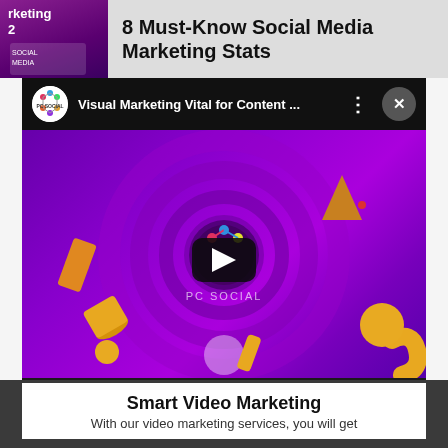[Figure (screenshot): Top banner showing partial book/guide cover for social media marketing on the left side, and article title '8 Must-Know Social Media Marketing Stats' on the right side]
[Figure (screenshot): YouTube video player embed showing 'Visual Marketing Vital for Content ...' by PC SOCIAL channel, with purple animated background, 3D objects (cylinders, spheres, curved shapes), concentric circles, YouTube play button in center, and PC SOCIAL text. Video has a close (X) button and three-dots menu.]
Smart Video Marketing
With our video marketing services, you will get